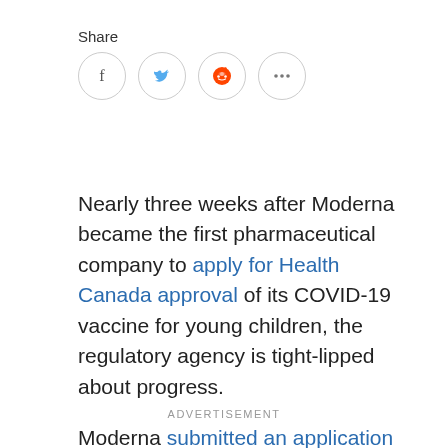Share
[Figure (infographic): Social share buttons: Facebook, Twitter, Reddit, and more (ellipsis) icons in circular outlines]
Nearly three weeks after Moderna became the first pharmaceutical company to apply for Health Canada approval of its COVID-19 vaccine for young children, the regulatory agency is tight-lipped about progress.
Moderna submitted an application for a pediatric dose for children aged six months to five years old on April 29, a day after it did the same in the United States.
ADVERTISEMENT